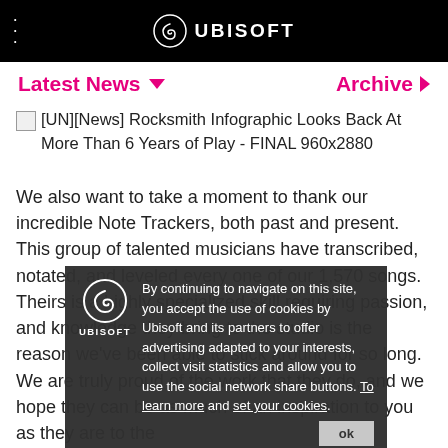UBISOFT
Latest News  Archive
[UN][News] Rocksmith Infographic Looks Back At More Than 6 Years of Play - FINAL 960x2880
We also want to take a moment to thank our incredible Note Trackers, both past and present. This group of talented musicians have transcribed, notated, and leveled every one of our 1,570 songs. Theirs is a highly specialized skill requiring passion, and knowledge they bring to the studio is the reason we've been able to stick around for so long. We are truly proud of the work that they do, and we hope they can be as much of an inspiration to you as they are to the
By continuing to navigate on this site, you accept the use of cookies by Ubisoft and its partners to offer advertising adapted to your interests, collect visit statistics and allow you to use the social network share buttons. To learn more and set your cookies.